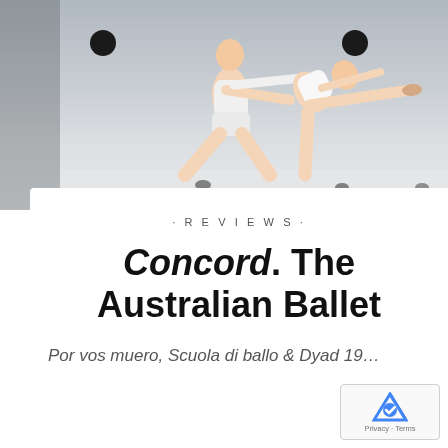[Figure (photo): Two ballet dancers in white performing on a grey studio background. A male dancer in white shorts and top supports a female dancer in a white leotard who extends one leg forward horizontally with arms outstretched. Two dark dots visible at top corners, three small shadow dots on the floor.]
· REVIEWS ·
Concord. The Australian Ballet
Por vos muero, Scuola di ballo & Dyad 19…